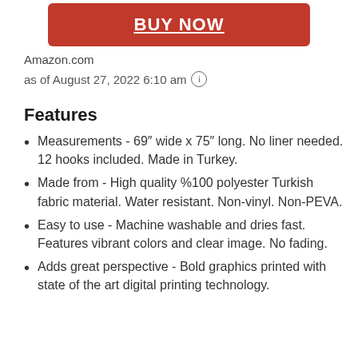[Figure (other): Red BUY NOW button]
Amazon.com
as of August 27, 2022 6:10 am ℹ
Features
Measurements - 69″ wide x 75″ long. No liner needed. 12 hooks included. Made in Turkey.
Made from - High quality %100 polyester Turkish fabric material. Water resistant. Non-vinyl. Non-PEVA.
Easy to use - Machine washable and dries fast. Features vibrant colors and clear image. No fading.
Adds great perspective - Bold graphics printed with state of the art digital printing technology.